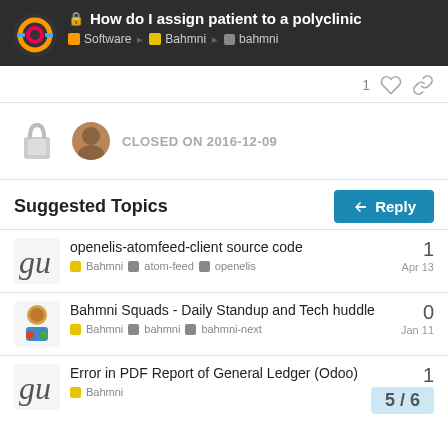How do I assign patient to a polyclinic — Software > Bahmni > bahmni
1 [like] [link]
CLOSED ON 2016-12-09
Reply
Suggested Topics
openelis-atomfeed-client source code
Bahmni · atom-feed · openelis
1
Apr 13
Bahmni Squads - Daily Standup and Tech huddle
Bahmni · bahmni · bahmni-next
0
Jan 11
Error in PDF Report of General Ledger (Odoo)
Bahmni
1
5 / 6